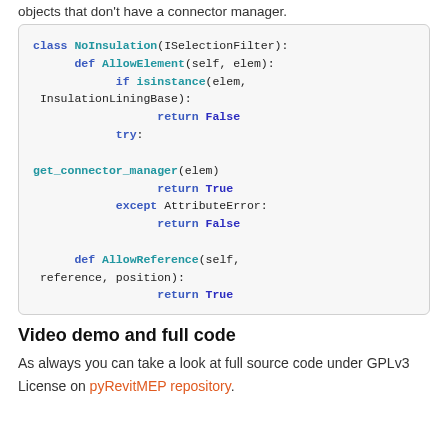objects that don't have a connector manager.
[Figure (screenshot): Python code block showing a NoInsulation class implementing ISelectionFilter, with AllowElement and AllowReference methods. AllowElement checks isinstance for InsulationLiningBase returning False, then tries get_connector_manager(elem) returning True, except AttributeError returning False. AllowReference returns True.]
Video demo and full code
As always you can take a look at full source code under GPLv3 License on pyRevitMEP repository.